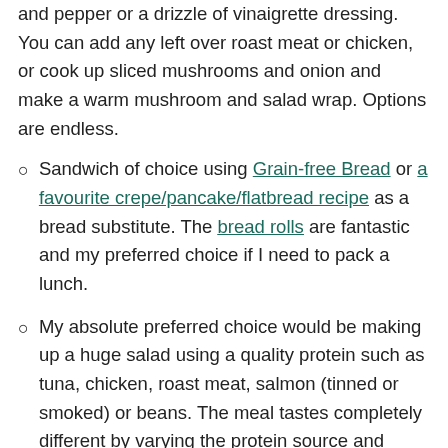and pepper or a drizzle of vinaigrette dressing. You can add any left over roast meat or chicken, or cook up sliced mushrooms and onion and make a warm mushroom and salad wrap. Options are endless.
Sandwich of choice using Grain-free Bread or a favourite crepe/pancake/flatbread recipe as a bread substitute. The bread rolls are fantastic and my preferred choice if I need to pack a lunch.
My absolute preferred choice would be making up a huge salad using a quality protein such as tuna, chicken, roast meat, salmon (tinned or smoked) or beans. The meal tastes completely different by varying the protein source and details like dressing, capers, finely sliced red onion, shallots, salad leaves, herbs. You could do this option every day of the week and have a different meal each time. Make your own dressing as commercial ones nearly always have